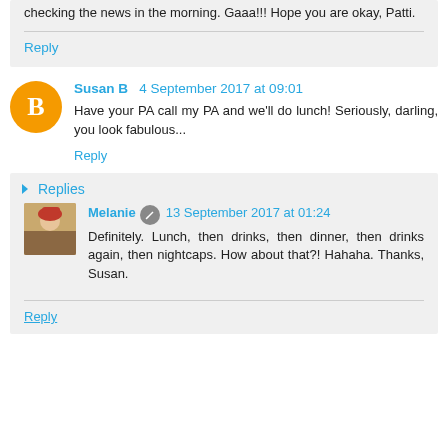checking the news in the morning. Gaaa!!! Hope you are okay, Patti.
Reply
Susan B  4 September 2017 at 09:01
Have your PA call my PA and we'll do lunch! Seriously, darling, you look fabulous...
Reply
Replies
Melanie  13 September 2017 at 01:24
Definitely. Lunch, then drinks, then dinner, then drinks again, then nightcaps. How about that?! Hahaha. Thanks, Susan.
Reply